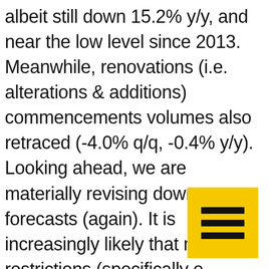albeit still down 15.2% y/y, and near the lowest level since 2013. Meanwhile, renovations (i.e. alterations & additions) commencements volumes also retraced (-4.0% q/q, -0.4% y/y). Looking ahead, we are materially revising down our forecasts (again). It is increasingly likely that mobility restrictions (specifically on housing) will remain in place over coming months; as well as a potentially even longer and more impactful drop in migration (with potentially effectively closed borders for many months, or even until next year). This is coupled with a severe recession lifting unemployment and poor sentiment amid expectations of price falls. So far, there has also not been
[Figure (other): Yellow square hamburger menu icon with three horizontal black bars]